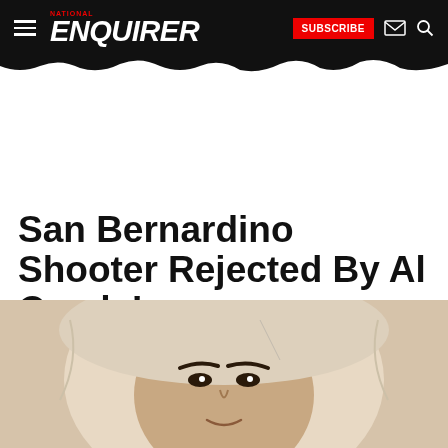National ENQUIRER
San Bernardino Shooter Rejected By Al Qaeda!
By National ENQUIRER Staff
Dec 11, 2015 @ 23:32PM
[Figure (photo): Partial face photo of a woman wearing a light-colored hijab, visible from forehead to chin, cropped at bottom of page.]